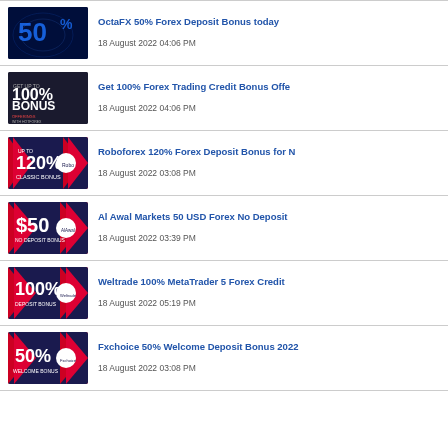OctaFX 50% Forex Deposit Bonus today
18 August 2022 04:06 PM
Get 100% Forex Trading Credit Bonus Offe
18 August 2022 04:06 PM
Roboforex 120% Forex Deposit Bonus for N
18 August 2022 03:08 PM
Al Awal Markets 50 USD Forex No Deposit
18 August 2022 03:39 PM
Weltrade 100% MetaTrader 5 Forex Credit
18 August 2022 05:19 PM
Fxchoice 50% Welcome Deposit Bonus 2022
18 August 2022 03:08 PM